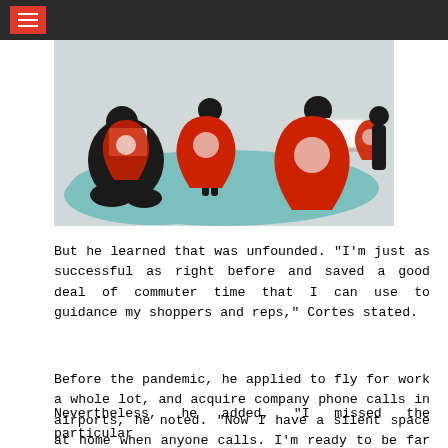[Figure (illustration): Illustration of silhouetted figures using laptops and tablets, standing near large red map location pin markers on a teal/grey background.]
But he learned that was unfounded. “I’m just as successful as right before and saved a good deal of commuter time that I can use to guidance my shoppers and reps,” Cortes stated.
Before the pandemic, he applied to fly for work a whole lot, and acquire company phone calls in airports, he noted. “Now I have a silent space at home when anyone calls. I’m ready to be far more effective and not be distracted.”
Nevertheless, he added, “I missed the particular conversation at the place of work and interaction